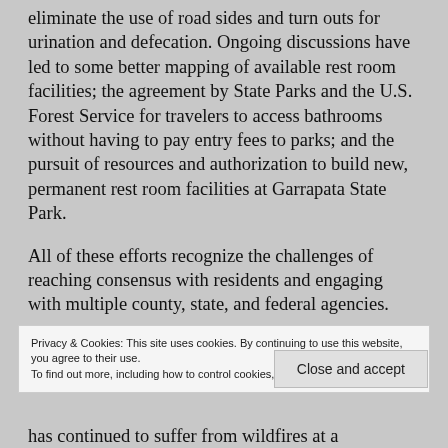eliminate the use of road sides and turn outs for urination and defecation. Ongoing discussions have led to some better mapping of available rest room facilities; the agreement by State Parks and the U.S. Forest Service for travelers to access bathrooms without having to pay entry fees to parks; and the pursuit of resources and authorization to build new, permanent rest room facilities at Garrapata State Park.
All of these efforts recognize the challenges of reaching consensus with residents and engaging with multiple county, state, and federal agencies.
Privacy & Cookies: This site uses cookies. By continuing to use this website, you agree to their use. To find out more, including how to control cookies, see here: Cookie Policy
has continued to suffer from wildfires at a